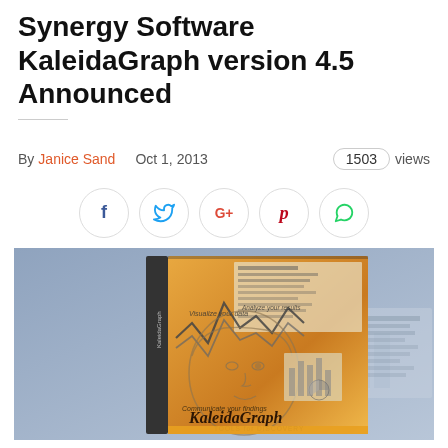Synergy Software KaleidaGraph version 4.5 Announced
By Janice Sand   Oct 1, 2013   1503 views
[Figure (other): Social media sharing buttons: Facebook, Twitter, Google+, Pinterest, WhatsApp]
[Figure (photo): KaleidaGraph version 4.5 software box showing a face sketch with data charts and the text 'KaleidaGraph TOOLS for DISCOVERY']